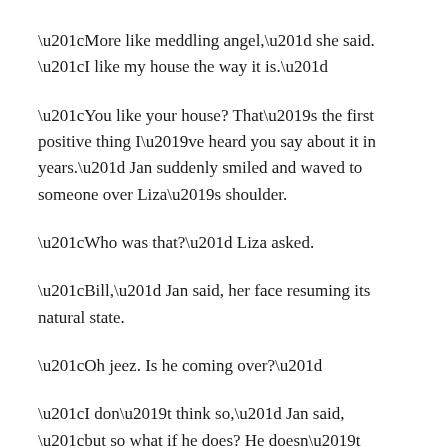“More like meddling angel,” she said. “I like my house the way it is.”
“You like your house? That’s the first positive thing I’ve heard you say about it in years.” Jan suddenly smiled and waved to someone over Liza’s shoulder.
“Who was that?” Liza asked.
“Bill,” Jan said, her face resuming its natural state.
“Oh jeez. Is he coming over?”
“I don’t think so,” Jan said, “but so what if he does? He doesn’t bite.”